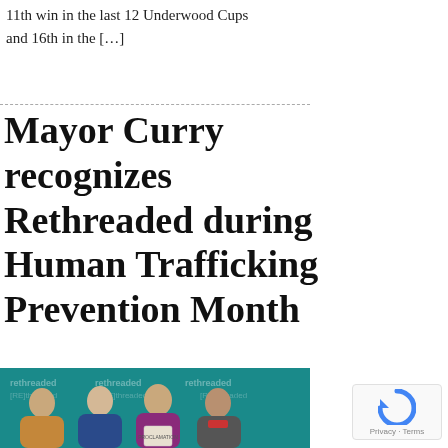11th win in the last 12 Underwood Cups
and 16th in the […]
Mayor Curry recognizes Rethreaded during Human Trafficking Prevention Month
[Figure (photo): Group photo of four people standing in front of a teal Rethreaded branded backdrop. One person is holding a proclamation document.]